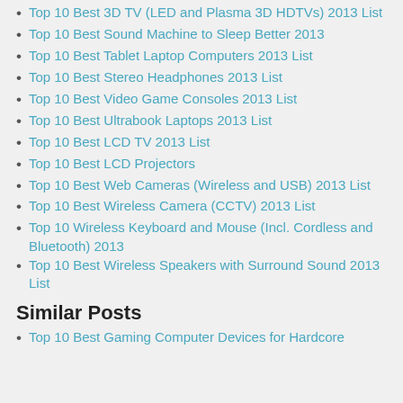Top 10 Best 3D TV (LED and Plasma 3D HDTVs) 2013 List
Top 10 Best Sound Machine to Sleep Better 2013
Top 10 Best Tablet Laptop Computers 2013 List
Top 10 Best Stereo Headphones 2013 List
Top 10 Best Video Game Consoles 2013 List
Top 10 Best Ultrabook Laptops 2013 List
Top 10 Best LCD TV 2013 List
Top 10 Best LCD Projectors
Top 10 Best Web Cameras (Wireless and USB) 2013 List
Top 10 Best Wireless Camera (CCTV) 2013 List
Top 10 Wireless Keyboard and Mouse (Incl. Cordless and Bluetooth) 2013
Top 10 Best Wireless Speakers with Surround Sound 2013 List
Similar Posts
Top 10 Best Gaming Computer Devices for Hardcore